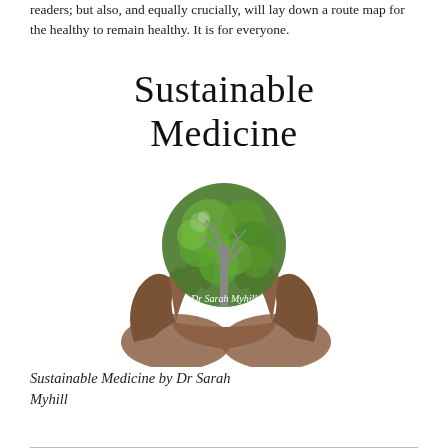readers; but also, and equally crucially, will lay down a route map for the healthy to remain healthy. It is for everyone.
[Figure (illustration): Book cover of 'Sustainable Medicine' by Dr Sarah Myhill. Shows the title in large serif font at top, with an image of two cupped hands holding a globe made of green leafy tree canopy with a bare tree trunk in the center.]
Sustainable Medicine by Dr Sarah Myhill